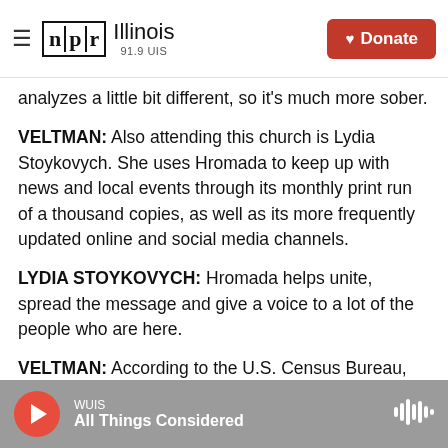NPR Illinois 91.9 UIS | Donate
analyzes a little bit different, so it's much more sober.
VELTMAN: Also attending this church is Lydia Stoykovych. She uses Hromada to keep up with news and local events through its monthly print run of a thousand copies, as well as its more frequently updated online and social media channels.
LYDIA STOYKOVYCH: Hromada helps unite, spread the message and give a voice to a lot of the people who are here.
VELTMAN: According to the U.S. Census Bureau,
WUIS | All Things Considered